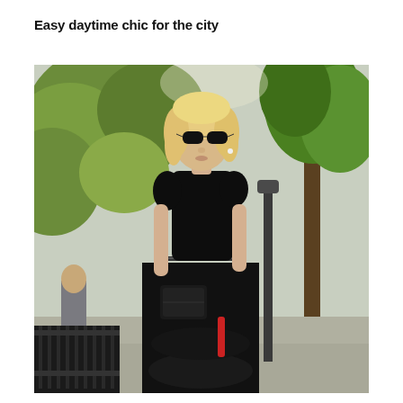Easy daytime chic for the city
[Figure (photo): A blonde woman wearing black sunglasses, a fitted black short-sleeve top, a black full midi skirt with a thin belt, holding a black clutch and a red accessory strap, walking on a city sidewalk lined with green trees.]